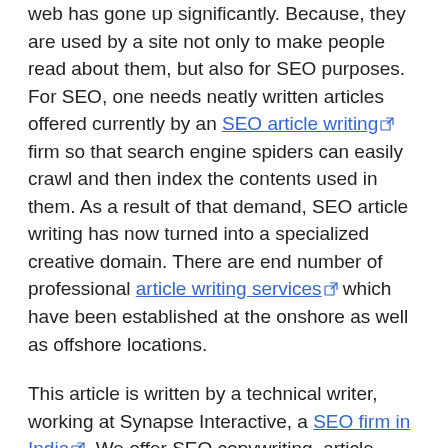web has gone up significantly. Because, they are used by a site not only to make people read about them, but also for SEO purposes. For SEO, one needs neatly written articles offered currently by an SEO article writing firm so that search engine spiders can easily crawl and then index the contents used in them. As a result of that demand, SEO article writing has now turned into a specialized creative domain. There are end number of professional article writing services which have been established at the onshore as well as offshore locations.
This article is written by a technical writer, working at Synapse Interactive, a SEO firm in India. We offer SEO copywriting, article copywriting and article writing services. For more information please contact us.
Article from articlesbase.com
Find More Web Page Creation Articles